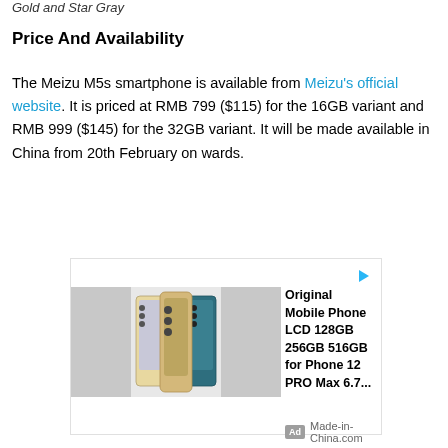Gold and Star Gray
Price And Availability
The Meizu M5s smartphone is available from Meizu's official website. It is priced at RMB 799 ($115) for the 16GB variant and RMB 999 ($145) for the 32GB variant. It will be made available in China from 20th February on wards.
[Figure (other): Advertisement banner for Original Mobile Phone LCD 128GB 256GB 516GB for Phone 12 PRO Max 6.7... from Made-in-China.com, showing three iPhone 12 Pro Max phones in different colors.]